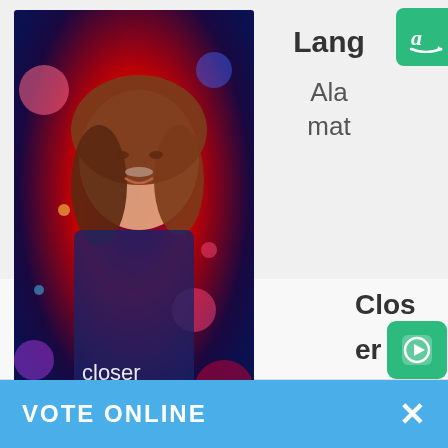[Figure (screenshot): Animated scene thumbnail - dark purple/blue stage with colorful lights]
Lang
[Figure (logo): Amazon shopping button (green)]
Ala mat
[Figure (photo): Album cover for Closer by Belle Mariano - smiling woman with colorful bokeh background, text reads 'closer Belle Mariano']
15
Closer Belle Mariano
[Figure (logo): YouTube Music green button]
[Figure (logo): Spotify green button]
[Figure (logo): Amazon green button]
Di
VOTE ONLINE
×